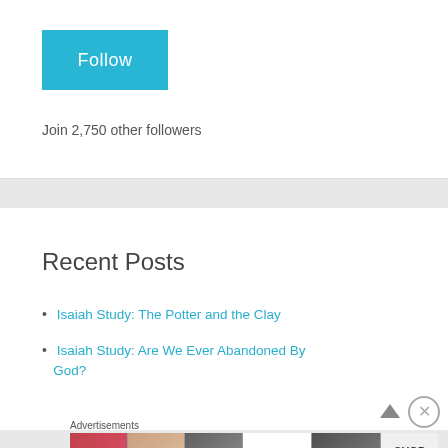Follow
Join 2,750 other followers
Recent Posts
Isaiah Study: The Potter and the Clay
Isaiah Study: Are We Ever Abandoned By God?
[Figure (other): Advertisements banner showing makeup products and ULTA Beauty logo with SHOP NOW button]